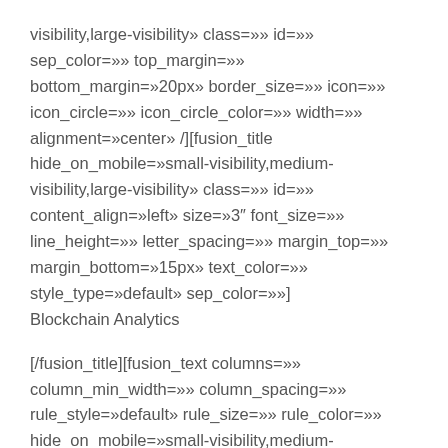visibility,large-visibility» class=»» id=»» sep_color=»» top_margin=»» bottom_margin=»20px» border_size=»» icon=»» icon_circle=»» icon_circle_color=»» width=»» alignment=»center» /][fusion_title hide_on_mobile=»small-visibility,medium-visibility,large-visibility» class=»» id=»» content_align=»left» size=»3″ font_size=»» line_height=»» letter_spacing=»» margin_top=»» margin_bottom=»15px» text_color=»» style_type=»default» sep_color=»»] Blockchain Analytics
[/fusion_title][fusion_text columns=»» column_min_width=»» column_spacing=»» rule_style=»default» rule_size=»» rule_color=»» hide_on_mobile=»small-visibility,medium-